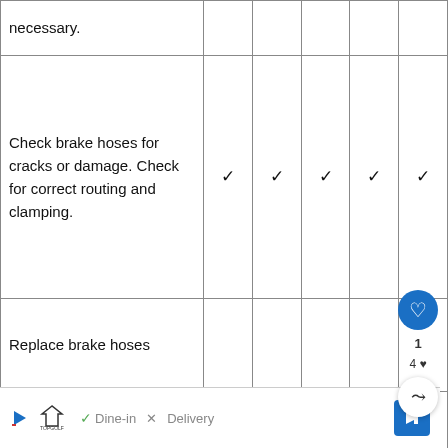| Item | Check 1 | Check 2 | Check 3 | Check 4 | Check 5 |
| --- | --- | --- | --- | --- | --- |
| necessary. |  |  |  |  |  |
| Check brake hoses for cracks or damage. Check for correct routing and clamping. | ✓ | ✓ | ✓ | ✓ | ✓ |
| Replace brake hoses |  |  |  |  |  |
| Replace brake fluid (Castrol DOT 4) and |  |  |  |  |  |